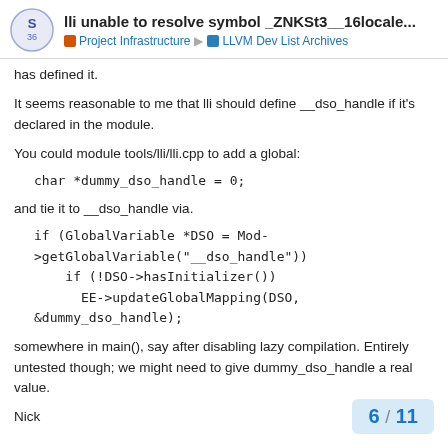lli unable to resolve symbol _ZNKSt3__16locale... | Project Infrastructure | LLVM Dev List Archives
has defined it.
It seems reasonable to me that lli should define __dso_handle if it's declared in the module.
You could module tools/lli/lli.cpp to add a global:
char *dummy_dso_handle = 0;
and tie it to __dso_handle via.
if (GlobalVariable *DSO = Mod->getGlobalVariable("__dso_handle"))
    if (!DSO->hasInitializer())
      EE->updateGlobalMapping(DSO, &dummy_dso_handle);
somewhere in main(), say after disabling lazy compilation. Entirely untested though; we might need to give dummy_dso_handle a real value.
Nick
6 / 11